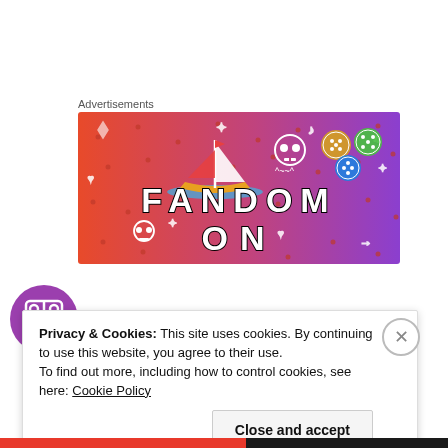Advertisements
[Figure (illustration): Fandom On advertisement banner with gradient orange-to-purple background, sailboat illustration, skull icons, dice icons, and bold text reading FANDOM ON]
Robert Shamblin
Privacy & Cookies: This site uses cookies. By continuing to use this website, you agree to their use.
To find out more, including how to control cookies, see here: Cookie Policy
Close and accept